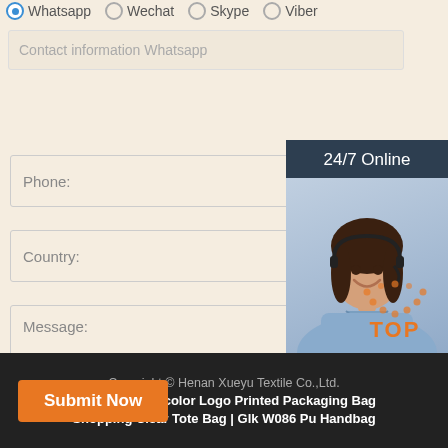Whatsapp  Wechat  Skype  Viber
Contact information Whatsapp
Phone:
Country:
Message:
[Figure (photo): Customer service representative with headset, smiling, with '24/7 Online' header and 'Click here for free chat!' and 'QUOTATION' button]
Submit Now
[Figure (other): TOP arrow icon with orange dotted arc and orange TOP text]
Copyright © Henan Xueyu Textile Co.,Ltd.
Sitemap | Multicolor Logo Printed Packaging Bag
Shopping Clear Tote Bag | Glk W086 Pu Handbag